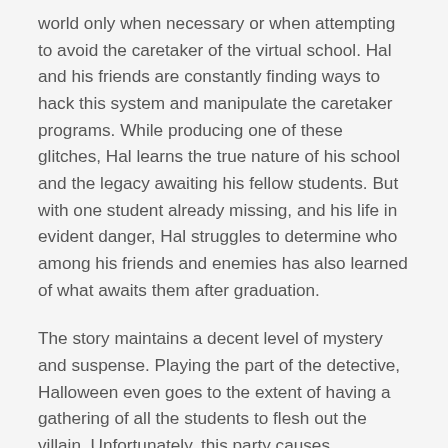world only when necessary or when attempting to avoid the caretaker of the virtual school. Hal and his friends are constantly finding ways to hack this system and manipulate the caretaker programs. While producing one of these glitches, Hal learns the true nature of his school and the legacy awaiting his fellow students. But with one student already missing, and his life in evident danger, Hal struggles to determine who among his friends and enemies has also learned of what awaits them after graduation.
The story maintains a decent level of mystery and suspense. Playing the part of the detective, Halloween even goes to the extent of having a gathering of all the students to flesh out the villain. Unfortunately, this party causes unforeseen events that only further Hal's confusion and disillusion with his environment. Just as Hal was regaining his memories and understanding his situation, he is blown away by the knowledge that indeed his whole universe does not exist. He must determine what to do with his life when everything he knows is a lie.